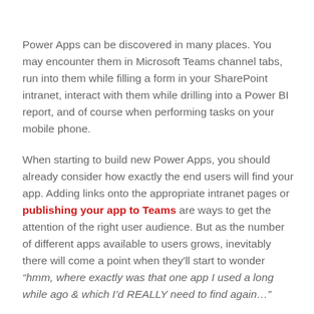Power Apps can be discovered in many places. You may encounter them in Microsoft Teams channel tabs, run into them while filling a form in your SharePoint intranet, interact with them while drilling into a Power BI report, and of course when performing tasks on your mobile phone.
When starting to build new Power Apps, you should already consider how exactly the end users will find your app. Adding links onto the appropriate intranet pages or publishing your app to Teams are ways to get the attention of the right user audience. But as the number of different apps available to users grows, inevitably there will come a point when they'll start to wonder "hmm, where exactly was that one app I used a long while ago & which I'd REALLY need to find again..."